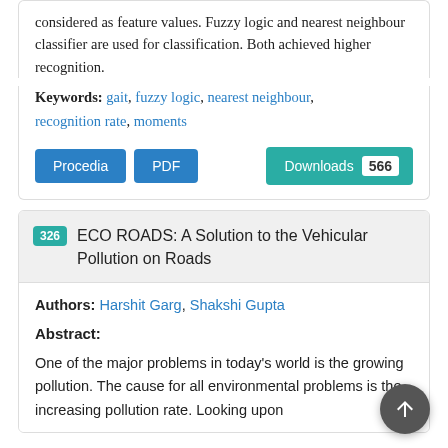considered as feature values. Fuzzy logic and nearest neighbour classifier are used for classification. Both achieved higher recognition.
Keywords: gait, fuzzy logic, nearest neighbour, recognition rate, moments
Procedia | PDF | Downloads 566
326 ECO ROADS: A Solution to the Vehicular Pollution on Roads
Authors: Harshit Garg, Shakshi Gupta
Abstract:
One of the major problems in today's world is the growing pollution. The cause for all environmental problems is the increasing pollution rate. Looking upon